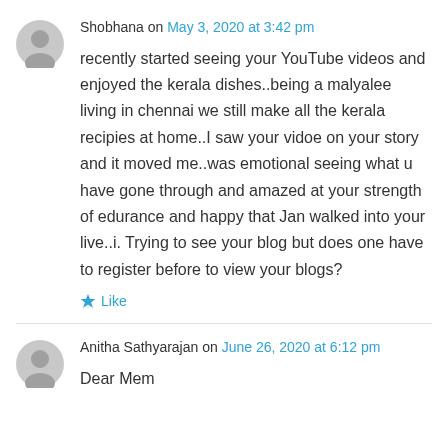Shobhana on May 3, 2020 at 3:42 pm
recently started seeing your YouTube videos and enjoyed the kerala dishes..being a malyalee living in chennai we still make all the kerala recipies at home..I saw your vidoe on your story and it moved me..was emotional seeing what u have gone through and amazed at your strength of edurance and happy that Jan walked into your live..i. Trying to see your blog but does one have to register before to view your blogs?
Like
Anitha Sathyarajan on June 26, 2020 at 6:12 pm
Dear Mem